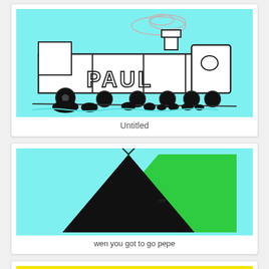[Figure (illustration): Child's drawing of a truck/vehicle labeled PAUL on cyan background]
Untitled
[Figure (illustration): Child's drawing of a black tent/teepee with green hill on cyan background, small text inside]
wen you got to go pepe
[Figure (illustration): Yellow background, bottom portion of another child's drawing]